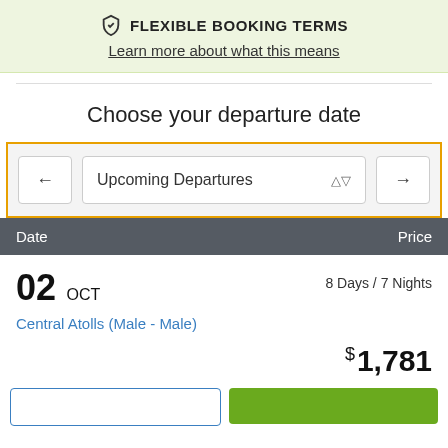[Figure (screenshot): Flexible booking terms banner with shield checkmark icon and underlined link 'Learn more about what this means' on light green background]
Choose your departure date
[Figure (screenshot): Navigation control with left arrow button, 'Upcoming Departures' dropdown selector, and right arrow button, enclosed in orange border]
| Date | Price |
| --- | --- |
| 02 OCT
Central Atolls (Male - Male)
8 Days / 7 Nights | $ 1,781 |